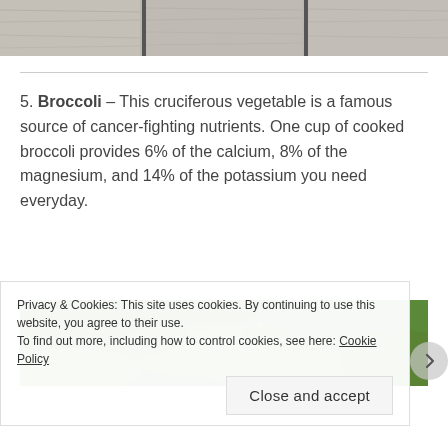[Figure (photo): Partial view of weathered wooden planks/fence at the top of the page]
5. Broccoli – This cruciferous vegetable is a famous source of cancer-fighting nutrients. One cup of cooked broccoli provides 6% of the calcium, 8% of the magnesium, and 14% of the potassium you need everyday.
[Figure (photo): Close-up of green leafy vegetables (broccoli or similar greens)]
Privacy & Cookies: This site uses cookies. By continuing to use this website, you agree to their use.
To find out more, including how to control cookies, see here: Cookie Policy
Close and accept